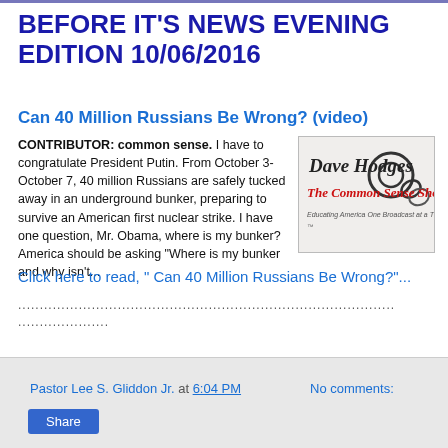BEFORE IT'S NEWS EVENING EDITION 10/06/2016
Can 40 Million Russians Be Wrong? (video)
CONTRIBUTOR: common sense. I have to congratulate President Putin. From October 3-October 7, 40 million Russians are safely tucked away in an underground bunker, preparing to survive an American first nuclear strike. I have one question, Mr. Obama, where is my bunker? America should be asking "Where is my bunker and why isn't...
[Figure (logo): Dave Hodges The Common Sense Show logo with handcuffs graphic and tagline: Educating America One Broadcast at a Time]
Click here to read, " Can 40 Million Russians Be Wrong?"...
.......................................................................................
...................
Pastor Lee S. Gliddon Jr. at 6:04 PM   No comments:
Share